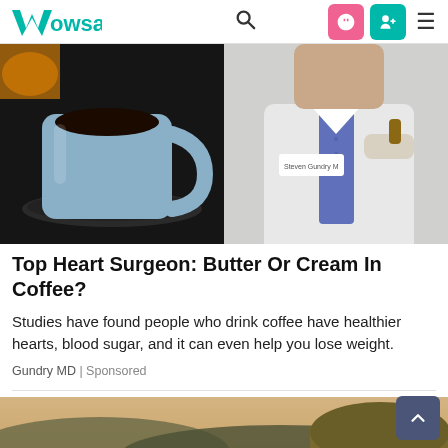Wowsa — navigation bar with logo, search, and icons
[Figure (photo): Split image: left side shows a coffee mug on a dark saucer; right side shows a doctor in a white coat holding something]
Top Heart Surgeon: Butter Or Cream In Coffee?
Studies have found people who drink coffee have healthier hearts, blood sugar, and it can even help you lose weight.
Gundry MD | Sponsored
[Figure (photo): Landscape photo of a calm river or lake with wooded hills at dusk/dawn with warm golden light]